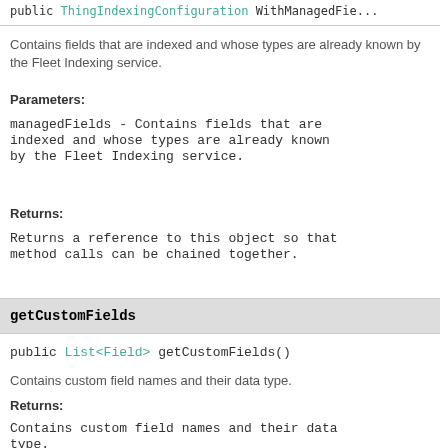public ThingIndexingConfiguration WithManagedFie...
Contains fields that are indexed and whose types are already known by the Fleet Indexing service.
Parameters:
managedFields - Contains fields that are indexed and whose types are already known by the Fleet Indexing service.
Returns:
Returns a reference to this object so that method calls can be chained together.
getCustomFields
public List<Field> getCustomFields()
Contains custom field names and their data type.
Returns:
Contains custom field names and their data type.